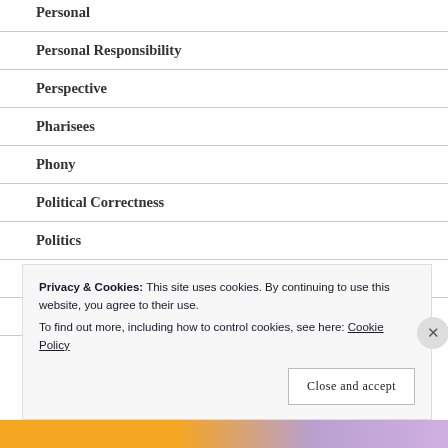Personal
Personal Responsibility
Perspective
Pharisees
Phony
Political Correctness
Politics
Poor Theology
Poverty
Privacy & Cookies: This site uses cookies. By continuing to use this website, you agree to their use.
To find out more, including how to control cookies, see here: Cookie Policy
Close and accept